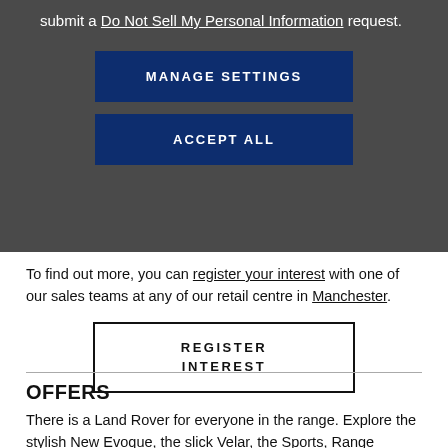submit a Do Not Sell My Personal Information request.
MANAGE SETTINGS
ACCEPT ALL
To find out more, you can register your interest with one of our sales teams at any of our retail centre in Manchester.
REGISTER INTEREST
OFFERS
There is a Land Rover for everyone in the range. Explore the stylish New Evoque, the slick Velar, the Sports, Range Rover...